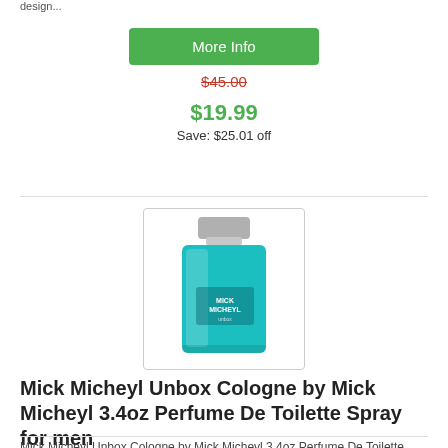design...
More Info
$45.00
$19.99
Save: $25.01 off
[Figure (photo): Mick Micheyl Unbox Cologne bottle – a square teal/aqua glass bottle with silver cap]
Mick Micheyl Unbox Cologne by Mick Micheyl 3.4oz Perfume De Toilette Spray for men
Mick Micheyl Unbox Cologne by Mick Micheyl 3.4oz Perfume De Toilette